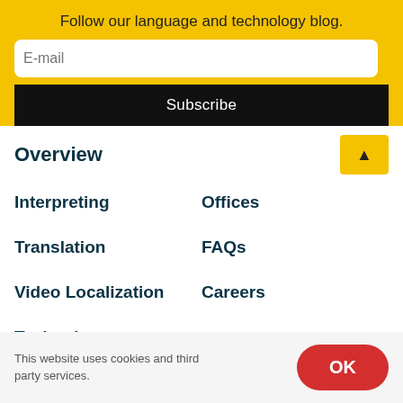Follow our language and technology blog.
E-mail
Subscribe
Overview
Interpreting
Offices
Translation
FAQs
Video Localization
Careers
Technology
This website uses cookies and third party services.
OK